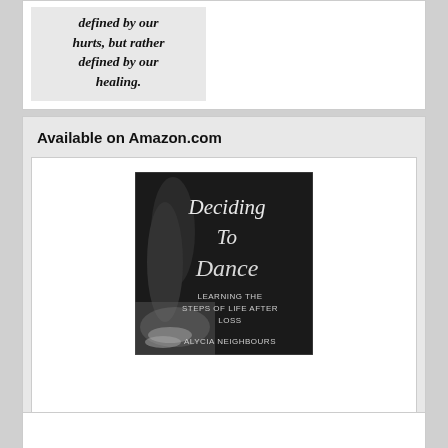[Figure (illustration): Partial view of a quote box with italic bold text reading '...defined by our hurts, but rather defined by our healing.' on a light gray background inside a white card.]
Available on Amazon.com
[Figure (photo): Book cover for 'Deciding To Dance: Learning the Steps of Life After Loss' by Alycia Neighbours. Black and white photo of ballet dancer's feet/pointe shoes. Cursive title text in white/silver.]
[Figure (illustration): Bottom of another card widget partially visible at bottom of page.]